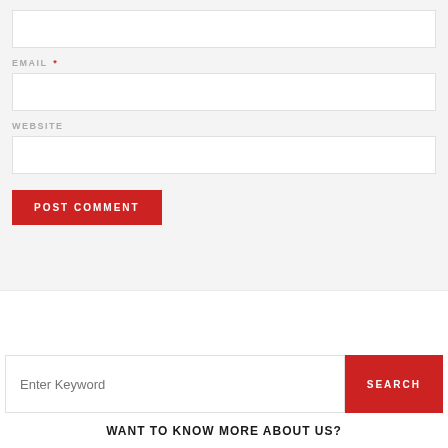[Figure (screenshot): Web form section with input fields for Email and Website, and a red POST COMMENT button, on a light gray background]
EMAIL *
WEBSITE
POST COMMENT
Enter Keyword
SEARCH
WANT TO KNOW MORE ABOUT US?